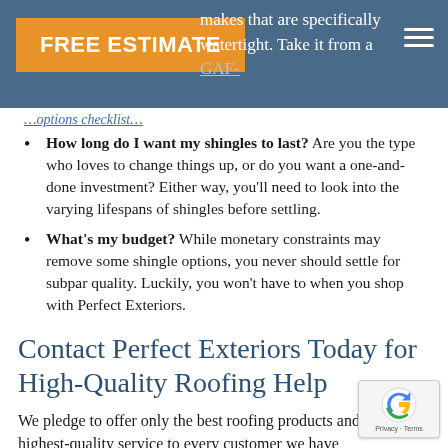makes that are specifically watertight. Take it from a GAF-
…options checklist…
How long do I want my shingles to last? Are you the type who loves to change things up, or do you want a one-and-done investment? Either way, you'll need to look into the varying lifespans of shingles before settling.
What's my budget? While monetary constraints may remove some shingle options, you never should settle for subpar quality. Luckily, you won't have to when you shop with Perfect Exteriors.
Contact Perfect Exteriors Today for High-Quality Roofing Help
We pledge to offer only the best roofing products and the highest-quality service to every customer we have